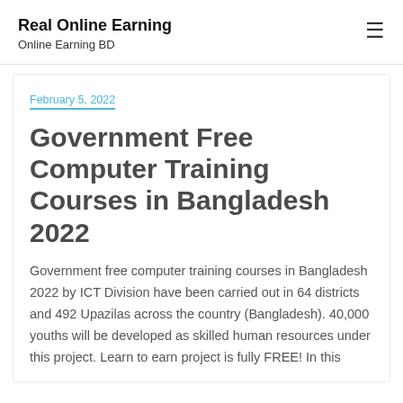Real Online Earning
Online Earning BD
February 5, 2022
Government Free Computer Training Courses in Bangladesh 2022
Government free computer training courses in Bangladesh 2022 by ICT Division have been carried out in 64 districts and 492 Upazilas across the country (Bangladesh). 40,000 youths will be developed as skilled human resources under this project. Learn to earn project is fully FREE! In this